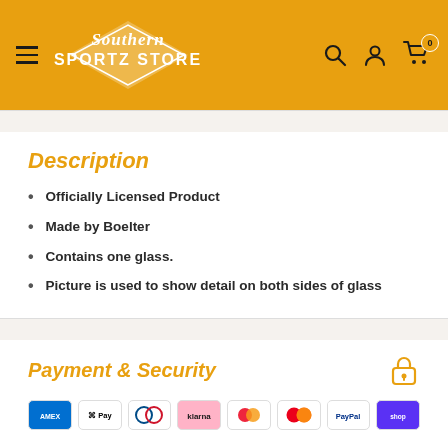Southern Sportz Store
Description
Officially Licensed Product
Made by Boelter
Contains one glass.
Picture is used to show detail on both sides of glass
Payment & Security